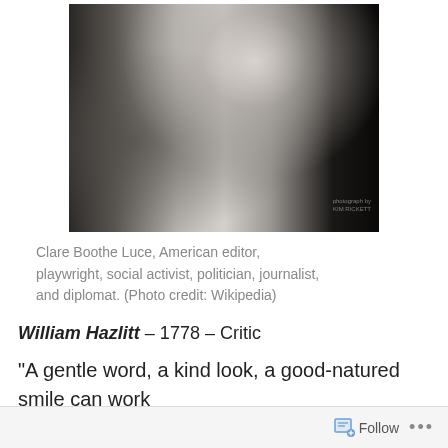[Figure (photo): Black and white profile photograph of Clare Boothe Luce, showing her face and neck in profile, with dark hair and dark background]
Clare Boothe Luce, American editor, playwright, social activist, politician, journalist, and diplomat. (Photo credit: Wikipedia)
William Hazlitt – 1778 – Critic
“A gentle word, a kind look, a good-natured smile can work